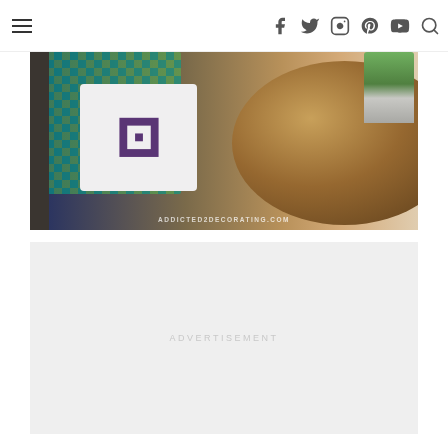Navigation header with hamburger menu and social icons: Facebook, Twitter, Instagram, Pinterest, YouTube, Search
[Figure (photo): Interior decorating photo showing a white pillow with purple geometric pattern leaning against a dark navy cabinet, with a round wood-tone table and green plant visible. Watermark text: ADDICTED2DECORATING.COM]
ADVERTISEMENT